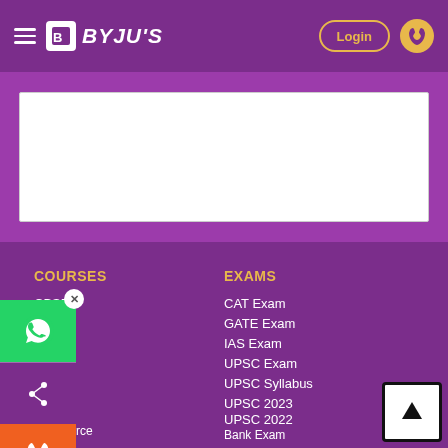BYJU'S — Login
[Figure (screenshot): White content area/advertisement block on purple background]
COURSES
CBSE
ICSE
CAT
IAS
JEE
NEET
Commerce
JEE Main
NCERT
EXAMS
CAT Exam
GATE Exam
IAS Exam
UPSC Exam
UPSC Syllabus
UPSC 2023
UPSC 2022
Bank Exam
Government Exams